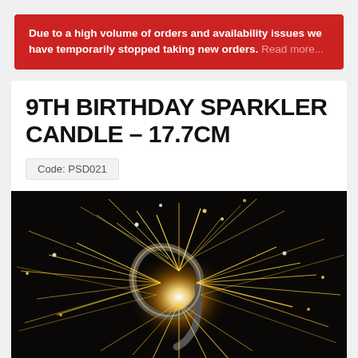Due to a high volume of orders and availability issues we have temporarily stopped taking new orders. Read more...
9TH BIRTHDAY SPARKLER CANDLE – 17.7CM
Code: PSD021
[Figure (photo): A number 9 shaped sparkler candle burning brightly against a dark background, with golden sparks radiating outward in all directions]